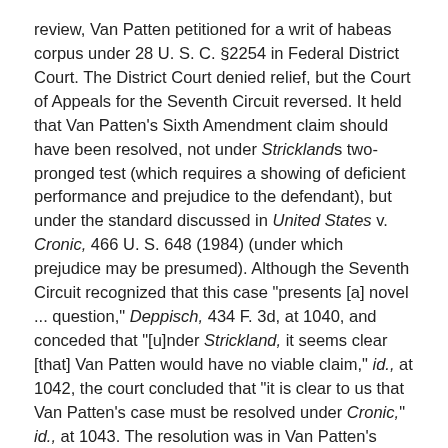review, Van Patten petitioned for a writ of habeas corpus under 28 U. S. C. §2254 in Federal District Court. The District Court denied relief, but the Court of Appeals for the Seventh Circuit reversed. It held that Van Patten's Sixth Amendment claim should have been resolved, not under Strickland's two-pronged test (which requires a showing of deficient performance and prejudice to the defendant), but under the standard discussed in United States v. Cronic, 466 U. S. 648 (1984) (under which prejudice may be presumed). Although the Seventh Circuit recognized that this case "presents [a] novel ... question," Deppisch, 434 F. 3d, at 1040, and conceded that "[u]nder Strickland, it seems clear [that] Van Patten would have no viable claim," id., at 1042, the court concluded that "it is clear to us that Van Patten's case must be resolved under Cronic," id., at 1043. The resolution was in Van Patten's favor.
While the prison warden's petition for certiorari was